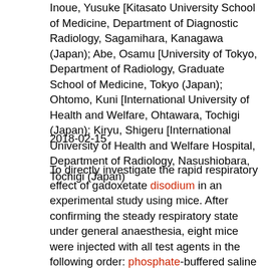Inoue, Yusuke [Kitasato University School of Medicine, Department of Diagnostic Radiology, Sagamihara, Kanagawa (Japan); Abe, Osamu [University of Tokyo, Department of Radiology, Graduate School of Medicine, Tokyo (Japan); Ohtomo, Kuni [International University of Health and Welfare, Ohtawara, Tochigi (Japan); Kiryu, Shigeru [International University of Health and Welfare Hospital, Department of Radiology, Nasushiobara, Tochigi (Japan)
2018-02-15
To directly investigate the rapid respiratory effect of gadoxetate disodium in an experimental study using mice. After confirming the steady respiratory state under general anaesthesia, eight mice were injected with all test agents in the following order: phosphate-buffered saline (A, control group), 1.25 mmol/kg of gadoteridol (B) or gadopentetate dimeglumine (C), or 0.31 mmol/kg of gadoxetate disodium (D, E). The experimenter was not blinded to the agents. The injection dose was fixed as 100 μL for Groups A-D and 50 μL for Group E. We continuously monitored and recorded respiratory rate (RR), peripheral oxygen saturation (SpO2), and heart rate. The time-series changes from 0 to 30 s were compared by the linear mixed method...